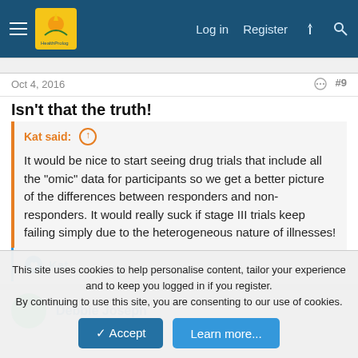HealthProlog — Log in  Register
Oct 4, 2016  #9
Isn't that the truth!
Kat said: ↑
It would be nice to start seeing drug trials that include all the "omic" data for participants so we get a better picture of the differences between responders and non-responders. It would really suck if stage III trials keep failing simply due to the heterogeneous nature of illnesses!
👍 Kat
Debbie Joseph
This site uses cookies to help personalise content, tailor your experience and to keep you logged in if you register.
By continuing to use this site, you are consenting to our use of cookies.